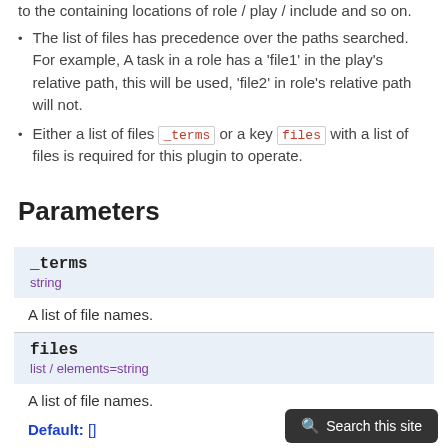to the containing locations of role / play / include and so on.
The list of files has precedence over the paths searched. For example, A task in a role has a 'file1' in the play's relative path, this will be used, 'file2' in role's relative path will not.
Either a list of files _terms or a key files with a list of files is required for this plugin to operate.
Parameters
| Parameter | Type | Description |
| --- | --- | --- |
| _terms | string | A list of file names. |
| files | list / elements=string | A list of file names.
Default: [] |